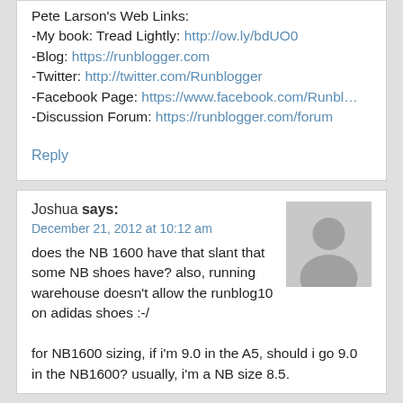Pete Larson's Web Links:
-My book: Tread Lightly: http://ow.ly/bdUO0
-Blog: https://runblogger.com
-Twitter: http://twitter.com/Runblogger
-Facebook Page: https://www.facebook.com/Runbl…
-Discussion Forum: https://runblogger.com/forum
Reply
Joshua says:
December 21, 2012 at 10:12 am
does the NB 1600 have that slant that some NB shoes have? also, running warehouse doesn't allow the runblog10 on adidas shoes :-/

for NB1600 sizing, if i'm 9.0 in the A5, should i go 9.0 in the NB1600? usually, i'm a NB size 8.5.